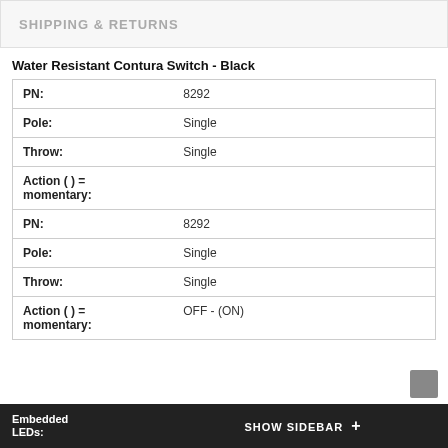SHIPPING & RETURNS
Water Resistant Contura Switch - Black
| PN: | 8292 |
| Pole: | Single |
| Throw: | Single |
| Action ( ) = momentary: |  |
| PN: | 8292 |
| Pole: | Single |
| Throw: | Single |
| Action ( ) = momentary: | OFF - (ON) |
Embedded LEDs:   SHOW SIDEBAR +